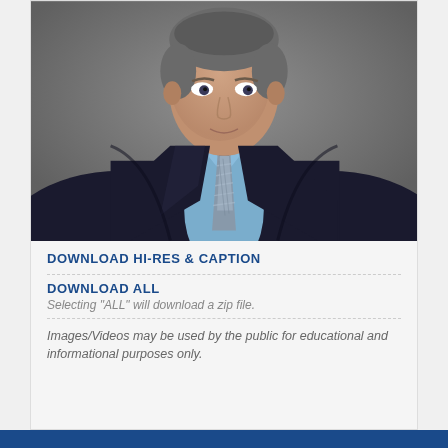[Figure (photo): Headshot portrait of a middle-aged man in a dark navy blazer, light blue dress shirt, and a silver/blue patterned tie, photographed against a gray background.]
DOWNLOAD HI-RES & CAPTION
DOWNLOAD ALL
Selecting "ALL" will download a zip file.
Images/Videos may be used by the public for educational and informational purposes only.